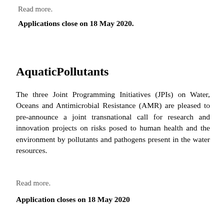Read more.
Applications close on 18 May 2020.
AquaticPollutants
The three Joint Programming Initiatives (JPIs) on Water, Oceans and Antimicrobial Resistance (AMR) are pleased to pre-announce a joint transnational call for research and innovation projects on risks posed to human health and the environment by pollutants and pathogens present in the water resources.
Read more.
Application closes on 18 May 2020